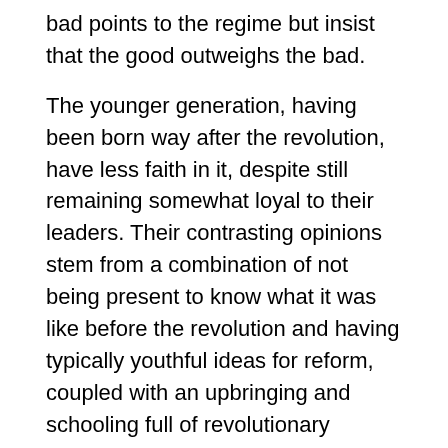bad points to the regime but insist that the good outweighs the bad.
The younger generation, having been born way after the revolution, have less faith in it, despite still remaining somewhat loyal to their leaders. Their contrasting opinions stem from a combination of not being present to know what it was like before the revolution and having typically youthful ideas for reform, coupled with an upbringing and schooling full of revolutionary values. They seem to have little faith in the ability of the current communist system to help the lives of ordinary Cubans and believe that Cuba should have more of a capitalist economy.